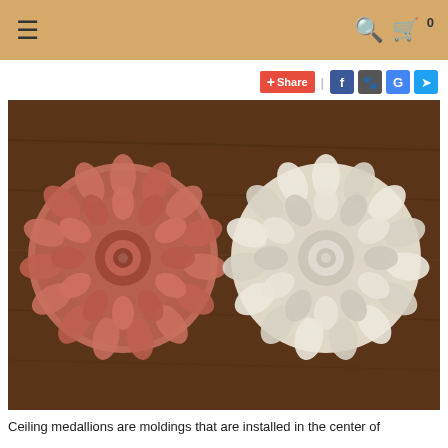≡  🔍 🛒 0
+Share | f [paw] G [twitter]
[Figure (photo): Two circular flower/rosette medallions side by side on a wooden table. Left medallion is terracotta/reddish-pink colored with textured petals. Right medallion is white/plaster colored with smoother petals. Both have a spiral center.]
Ceiling medallions are moldings that are installed in the center of